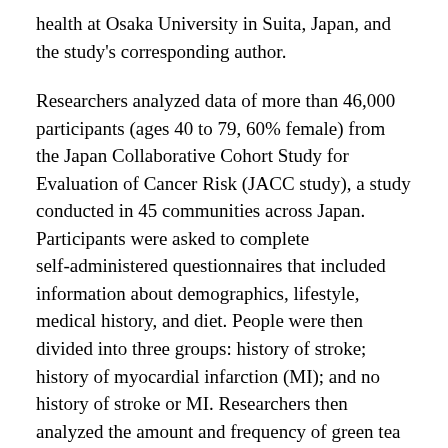health at Osaka University in Suita, Japan, and the study's corresponding author.
Researchers analyzed data of more than 46,000 participants (ages 40 to 79, 60% female) from the Japan Collaborative Cohort Study for Evaluation of Cancer Risk (JACC study), a study conducted in 45 communities across Japan. Participants were asked to complete self-administered questionnaires that included information about demographics, lifestyle, medical history, and diet. People were then divided into three groups: history of stroke; history of myocardial infarction (MI); and no history of stroke or MI. Researchers then analyzed the amount and frequency of green tea and coffee consumption. Researchers noted that a typical cup of green tea contains approximately 100mL (about 3.4 ounces) of liquid, and a typical cup of